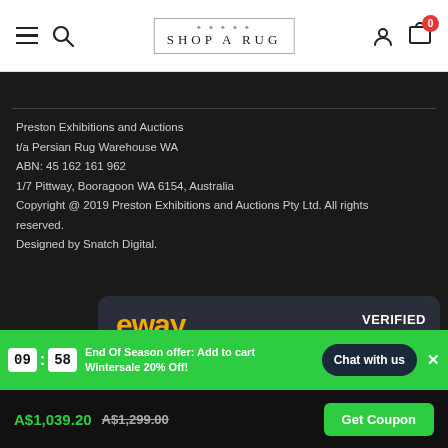[Figure (screenshot): Shop A Rug website header with hamburger menu, search icon, logo, user icon, and cart with badge 0]
Preston Exhibitions and Auctions
t/a Persian Rug Warehouse WA
ABN: 45 162 161 962
1/7 Pittway, Booragoon WA 6154, Australia
Copyright @ 2019 Preston Exhibitions and Auctions Pty Ltd. All rights reserved.
Designed by Snatch Digital.
[Figure (logo): eWAY payment verified badge with VISA and Mastercard logos, VERIFIED 21-AUG-22, Secure online button]
End Of Season offer: Add to cart Wintersale 20% Off!
Chat with us
A$1,039.20 A$1,299.00 Get Coupon